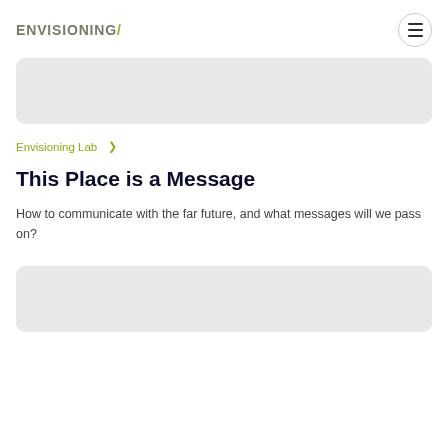ENVISIONING/
[Figure (other): Gray rounded rectangle card placeholder at top]
Envisioning Lab >
This Place is a Message
How to communicate with the far future, and what messages will we pass on?
[Figure (other): Gray rounded rectangle card placeholder at bottom]